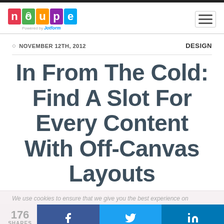noupe — Powered by Jotform
NOVEMBER 12TH, 2012
DESIGN
In From The Cold: Find A Slot For Every Content With Off-Canvas Layouts
We use cookies to ensure that we give you the best experience on
176 SHARES